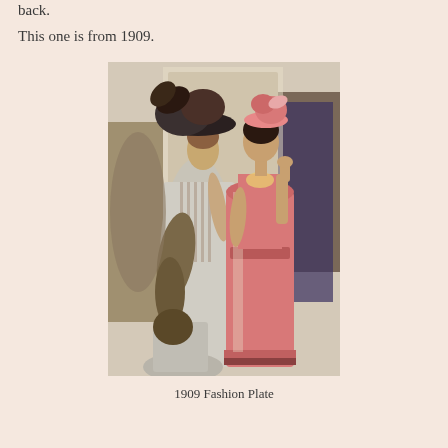back.
This one is from 1909.
[Figure (illustration): 1909 Fashion Plate illustration showing two women in Edwardian-era dresses. The left woman wears a white/grey long gown with a large dark feathered hat and carries a fur stole. The right woman wears a pink/red sleeveless dress over a lighter gown with a pink hat and has dark hair.]
1909 Fashion Plate